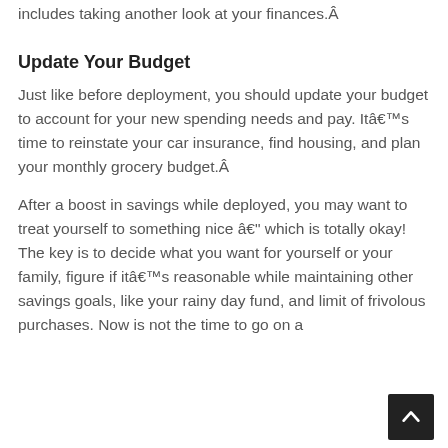includes taking another look at your finances.Â
Update Your Budget
Just like before deployment, you should update your budget to account for your new spending needs and pay. Itâs time to reinstate your car insurance, find housing, and plan your monthly grocery budget.Â
After a boost in savings while deployed, you may want to treat yourself to something nice â which is totally okay! The key is to decide what you want for yourself or your family, figure if itâs reasonable while maintaining other savings goals, like your rainy day fund, and limit of frivolous purchases. Now is not the time to go on a